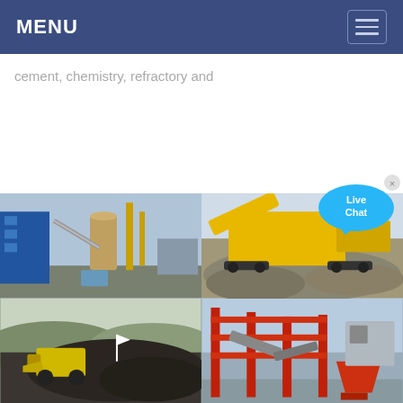MENU
cement, chemistry, refractory and
[Figure (photo): Industrial cement/chemical plant with blue building structures, yellow equipment, large vertical cylindrical vessels and conveyor systems]
[Figure (photo): Yellow heavy construction/mining machinery (crusher/screener) working on a large pile of crushed stone aggregate]
[Figure (photo): Open-pit mining scene with a yellow front loader working on piles of dark material with hills in background]
[Figure (photo): Red industrial processing/screening plant structure with conveyors and machinery under blue sky]